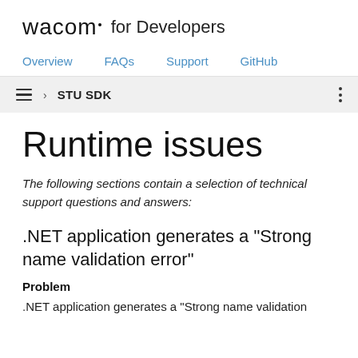wacom· for Developers
Overview   FAQs   Support   GitHub
› STU SDK
Runtime issues
The following sections contain a selection of technical support questions and answers:
.NET application generates a "Strong name validation error"
Problem
.NET application generates a "Strong name validation